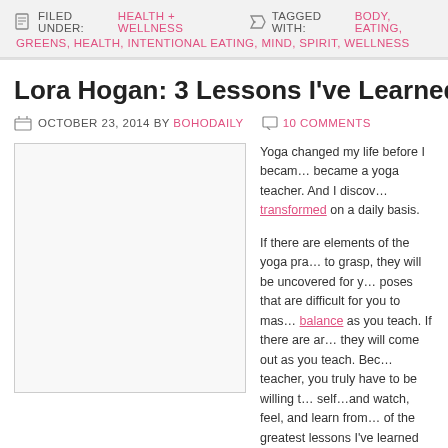FILED UNDER: HEALTH + WELLNESS  TAGGED WITH: BODY, EATING, GREENS, HEALTH, INTENTIONAL EATING, MIND, SPIRIT, WELLNESS
Lora Hogan: 3 Lessons I've Learned Tea
OCTOBER 23, 2014 BY BOHODAILY  10 COMMENTS
Yoga changed my life before I became a yoga teacher. And I discovered transformed on a daily basis.
If there are elements of the yoga practice that are difficult to grasp, they will be uncovered for you. If there are poses that are difficult for you to master, you will find balance as you teach. If there are areas where you struggle, they will come out as you teach. Because when you are a teacher, you truly have to be willing to look at your own self…and watch, feel, and learn from your students. Some of the greatest lessons I've learned since becoming a teacher: